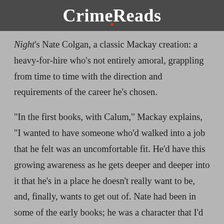CrimeReads
Night's Nate Colgan, a classic Mackay creation: a heavy-for-hire who's not entirely amoral, grappling from time to time with the direction and requirements of the career he's chosen.
“In the first books, with Calum,” Mackay explains, “I wanted to have someone who’d walked into a job that he felt was an uncomfortable fit. He’d have this growing awareness as he gets deeper and deeper into it that he’s in a place he doesn’t really want to be, and, finally, wants to get out of. Nate had been in some of the early books; he was a character that I’d always wanted to do more with. I had him in the background, this thuggish tough guy that people use as a threat